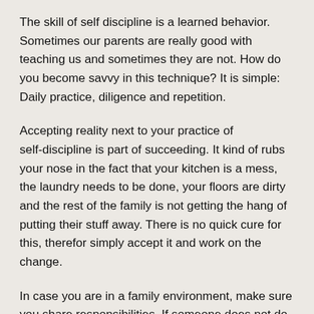The skill of self discipline is a learned behavior. Sometimes our parents are really good with teaching us and sometimes they are not. How do you become savvy in this technique? It is simple: Daily practice, diligence and repetition.
Accepting reality next to your practice of self‑discipline is part of succeeding. It kind of rubs your nose in the fact that your kitchen is a mess, the laundry needs to be done, your floors are dirty and the rest of the family is not getting the hang of putting their stuff away. There is no quick cure for this, therefor simply accept it and work on the change.
In case you are in a family environment, make sure you share responsibilities. If someone does not do them, they will have to deal with the consequences. Be